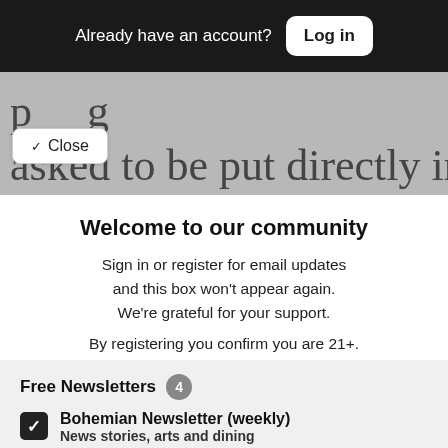Already have an account? Log in
asked to be put directly in touch
Close
Welcome to our community
Sign in or register for email updates and this box won’t appear again. We’re grateful for your support.
By registering you confirm you are 21+.
Free Newsletters 4
Bohemian Newsletter (weekly) — News stories, arts and dining